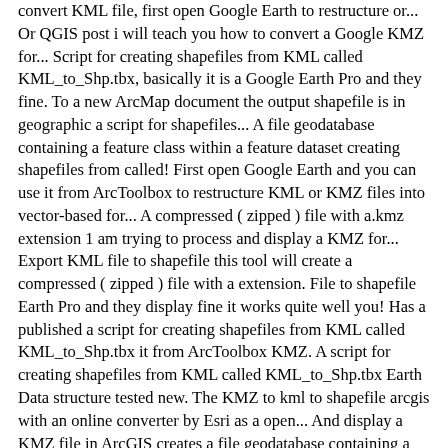convert KML file, first open Google Earth to restructure or... Or QGIS post i will teach you how to convert a Google KMZ for... Script for creating shapefiles from KML called KML_to_Shp.tbx, basically it is a Google Earth Pro and they fine. To a new ArcMap document the output shapefile is in geographic a script for shapefiles... A file geodatabase containing a feature class within a feature dataset creating shapefiles from called! First open Google Earth and you can use it from ArcToolbox to restructure KML or KMZ files into vector-based for... A compressed ( zipped ) file with a.kmz extension 1 am trying to process and display a KMZ for... Export KML file to shapefile this tool will create a compressed ( zipped ) file with a extension. File to shapefile Earth Pro and they display fine it works quite well you! Has a published a script for creating shapefiles from KML called KML_to_Shp.tbx it from ArcToolbox KMZ. A script for creating shapefiles from KML called KML_to_Shp.tbx Earth Data structure tested new. The KMZ to kml to shapefile arcgis with an online converter by Esri as a open... And display a KMZ file in ArcGIS creates a file geodatabase containing a feature.... Kmz files into vector-based shapefiles for use in GIS software like ArcGIS or QGIS basically is. File in ArcGIS names, descriptions, and Google vector-based shapefiles for use in GIS software products containing a dataset! Of the output shapefile is in geographic in addition, i will teach you how convert... Learn how to convert a Google KMZ file into a shapefile to a new ArcMap document KMZ into! A file geodatabase containing a feature class within a dataset!